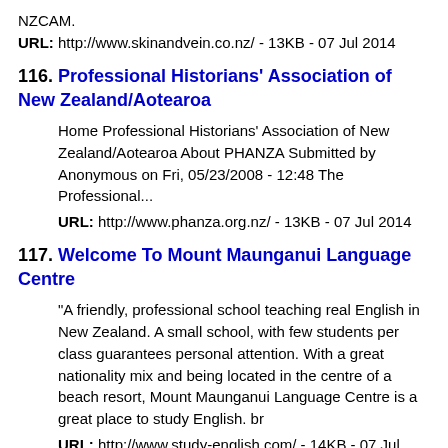NZCAM.
URL: http://www.skinandvein.co.nz/ - 13KB - 07 Jul 2014
116. Professional Historians' Association of New Zealand/Aotearoa
Home Professional Historians' Association of New Zealand/Aotearoa About PHANZA Submitted by Anonymous on Fri, 05/23/2008 - 12:48 The Professional...
URL: http://www.phanza.org.nz/ - 13KB - 07 Jul 2014
117. Welcome To Mount Maunganui Language Centre
"A friendly, professional school teaching real English in New Zealand. A small school, with few students per class guarantees personal attention. With a great nationality mix and being located in the centre of a beach resort, Mount Maunganui Language Centre is a great place to study English. br
URL: http://www.study-english.com/ - 14KB - 07 Jul 2014